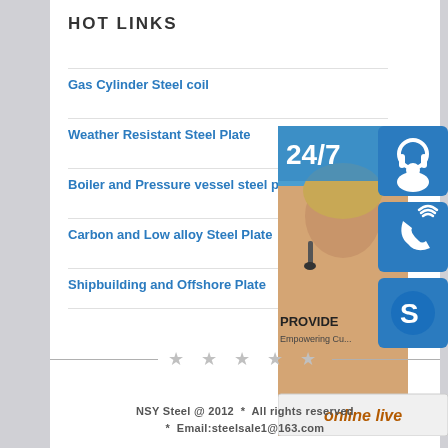HOT LINKS
Gas Cylinder Steel coil
Weather Resistant Steel Plate
Boiler and Pressure vessel steel plate
Carbon and Low alloy Steel Plate
Shipbuilding and Offshore Plate
[Figure (photo): Customer service representative with headset, 24/7 support banner, contact icons (headset, phone, Skype), online live button]
★ ★ ★ ★ ★
NSY Steel @ 2012  *  All rights reserved
* Email:steelsale1@163.com